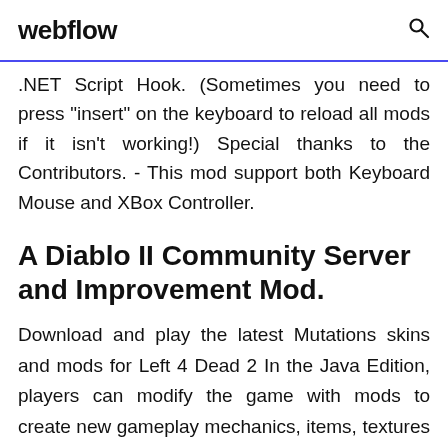webflow
.NET Script Hook. (Sometimes you need to press "insert" on the keyboard to reload all mods if it isn't working!) Special thanks to the Contributors. - This mod support both Keyboard Mouse and XBox Controller.
A Diablo II Community Server and Improvement Mod.
Download and play the latest Mutations skins and mods for Left 4 Dead 2 In the Java Edition, players can modify the game with mods to create new gameplay mechanics, items, textures and assets. pause and resume breaking, across players! Here we have a great